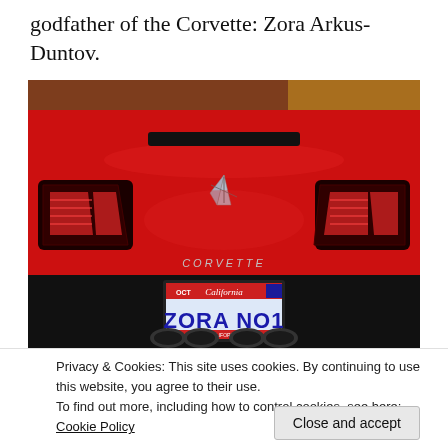godfather of the Corvette: Zora Arkus-Duntov.
[Figure (photo): Rear view of a red Corvette sports car with California vanity license plate reading 'ZORA NO1'. The Corvette emblem is visible on the trunk, taillights on both sides, and exhaust pipes visible at the bottom.]
Privacy & Cookies: This site uses cookies. By continuing to use this website, you agree to their use.
To find out more, including how to control cookies, see here: Cookie Policy
Close and accept